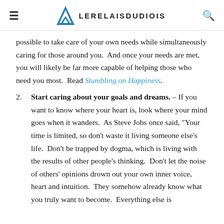LERELAISDUDIOIS
possible to take care of your own needs while simultaneously caring for those around you.  And once your needs are met, you will likely be far more capable of helping those who need you most.  Read Stumbling on Happiness.
2. Start caring about your goals and dreams. – If you want to know where your heart is, look where your mind goes when it wanders.  As Steve Jobs once said, “Your time is limited, so don't waste it living someone else's life.  Don't be trapped by dogma, which is living with the results of other people's thinking.  Don't let the noise of others' opinions drown out your own inner voice, heart and intuition.  They somehow already know what you truly want to become.  Everything else is